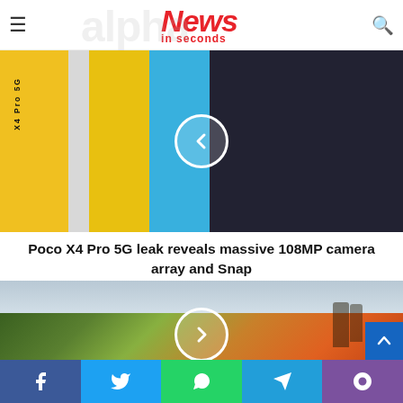News in seconds
[Figure (photo): Poco X4 Pro 5G smartphones in yellow, blue, and dark colors displayed side by side with a back navigation arrow overlay]
Poco X4 Pro 5G leak reveals massive 108MP camera array and Snap
[Figure (photo): Landscape photo of green and orange hillside with trees under a grey sky, with a forward navigation arrow overlay]
Social share bar: Facebook, Twitter, WhatsApp, Telegram, Viber